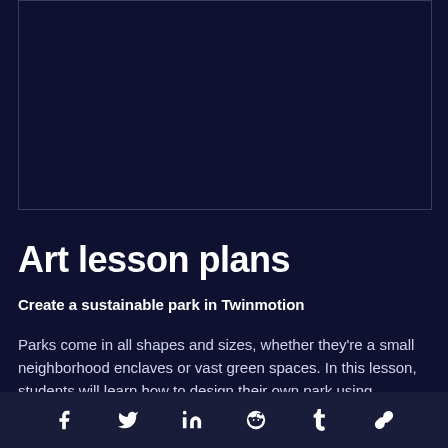[Figure (other): Dark rectangular image placeholder with a thin border, representing an embedded image or video thumbnail for the art lesson plan about Twinmotion.]
Art lesson plans
Create a sustainable park in Twinmotion
Parks come in all shapes and sizes, whether they're a small neighborhood enclaves or vast green spaces. In this lesson, students will learn how to design their own park using Twinmotion.
Share icons: Facebook, Twitter, LinkedIn, Reddit, Tumblr, Link